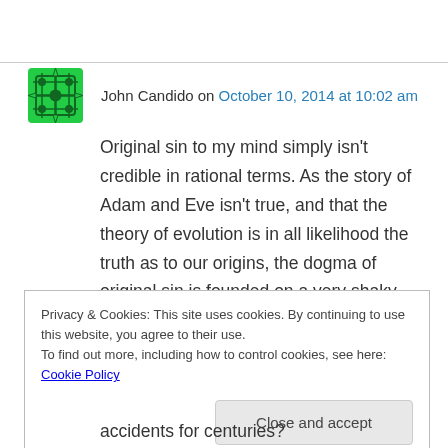John Candido on October 10, 2014 at 10:02 am
Original sin to my mind simply isn't credible in rational terms. As the story of Adam and Eve isn't true, and that the theory of evolution is in all likelihood the truth as to our origins, the dogma of original sin is founded on a very shaky foundation. The presentation of such a dogma should lead to educated individuals to cast
Privacy & Cookies: This site uses cookies. By continuing to use this website, you agree to their use.
To find out more, including how to control cookies, see here: Cookie Policy
accidents for centuries?